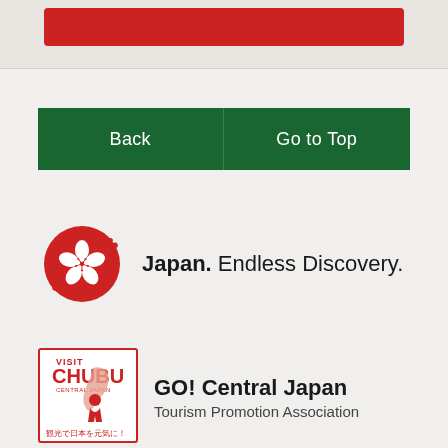[Figure (other): Red button partially visible at top of page in beige/cream banner area]
[Figure (other): Two green navigation buttons side by side: 'Back' on the left and 'Go to Top' on the right]
[Figure (logo): Japan National Tourism Organization logo: red circle with white cherry blossom pattern, with tagline 'Japan. Endless Discovery.']
Japan. Endless Discovery.
[Figure (logo): Visit Chubu Central Japan Tourism Promotion Association logo with Japanese text '観光で日本を元気に!']
GO! Central Japan
Tourism Promotion Association